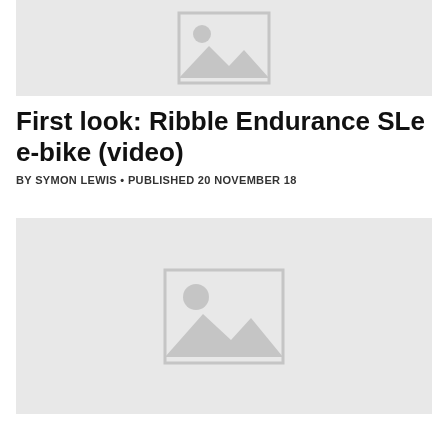[Figure (photo): Placeholder image at top of article, grey background with image placeholder icon]
First look: Ribble Endurance SLe e-bike (video)
BY SYMON LEWIS • PUBLISHED 20 NOVEMBER 18
[Figure (photo): Placeholder image below article header, grey background with image placeholder icon]